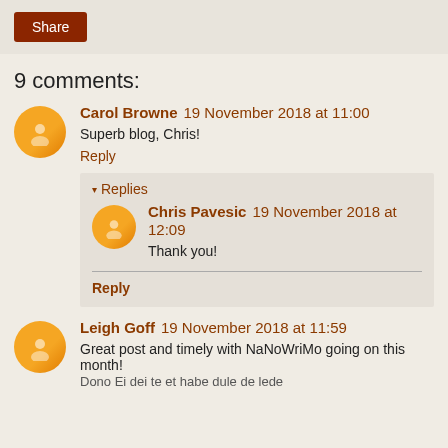Share
9 comments:
Carol Browne  19 November 2018 at 11:00
Superb blog, Chris!
Reply
Replies
Chris Pavesic  19 November 2018 at 12:09
Thank you!
Reply
Leigh Goff  19 November 2018 at 11:59
Great post and timely with NaNoWriMo going on this month!